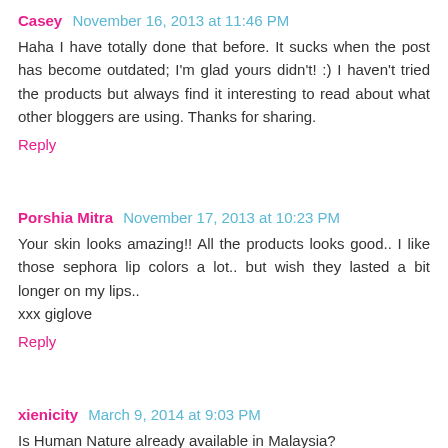Casey  November 16, 2013 at 11:46 PM
Haha I have totally done that before. It sucks when the post has become outdated; I'm glad yours didn't! :) I haven't tried the products but always find it interesting to read about what other bloggers are using. Thanks for sharing.
Reply
Porshia Mitra  November 17, 2013 at 10:23 PM
Your skin looks amazing!! All the products looks good.. I like those sephora lip colors a lot.. but wish they lasted a bit longer on my lips..
xxx giglove
Reply
xienicity  March 9, 2014 at 9:03 PM
Is Human Nature already available in Malaysia?